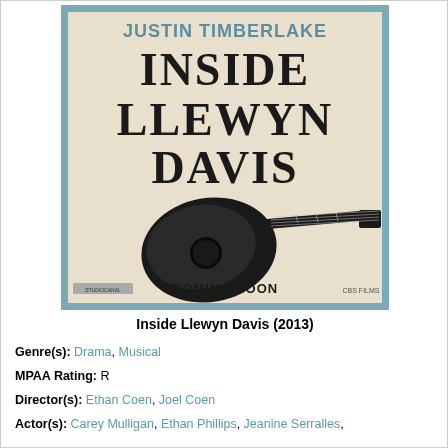[Figure (photo): Movie poster for Inside Llewyn Davis (2013) featuring Justin Timberlake's name at top, large title text 'Inside Llewyn Davis', an illustration of a dark acoustic guitar, text 'Coming Soon', StudioCanal and CBS Films logos, with a teal/blue border frame]
Inside Llewyn Davis (2013)
Genre(s): Drama, Musical
MPAA Rating: R
Director(s): Ethan Coen, Joel Coen
Actor(s): Carey Mulligan, Ethan Phillips, Jeanine Serralles,